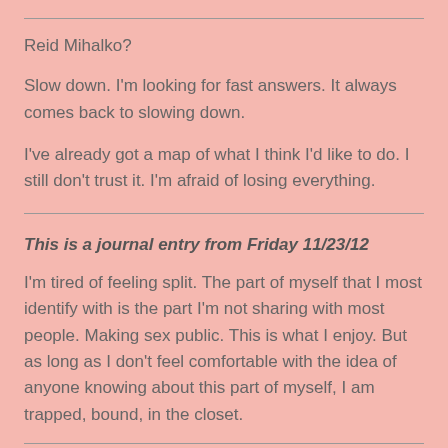Reid Mihalko?
Slow down. I'm looking for fast answers. It always comes back to slowing down.
I've already got a map of what I think I'd like to do. I still don't trust it. I'm afraid of losing everything.
This is a journal entry from Friday 11/23/12
I'm tired of feeling split. The part of myself that I most identify with is the part I'm not sharing with most people. Making sex public. This is what I enjoy. But as long as I don't feel comfortable with the idea of anyone knowing about this part of myself, I am trapped, bound, in the closet.